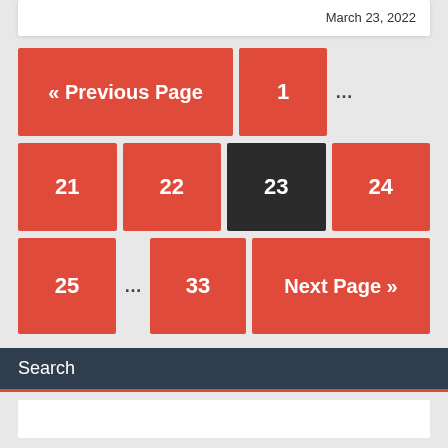March 23, 2022
[Figure (other): Pagination navigation buttons: Previous Page, 1, ..., 21, 22, 23 (current/dark), 24, 25, ..., 33, Next Page]
Search